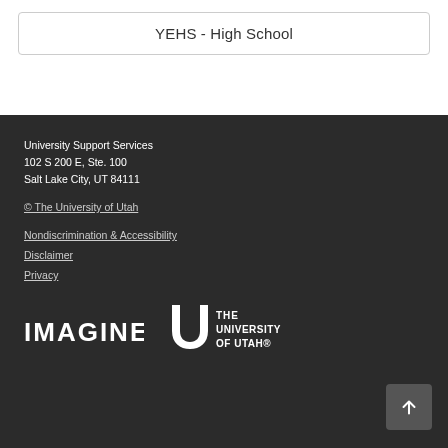YEHS - High School
University Support Services
102 S 200 E, Ste. 100
Salt Lake City, UT 84111
© The University of Utah
Nondiscrimination & Accessibility
Disclaimer
Privacy
[Figure (logo): IMAGINE logo and The University of Utah logo in white on dark background]
[Figure (other): Back to top arrow button]